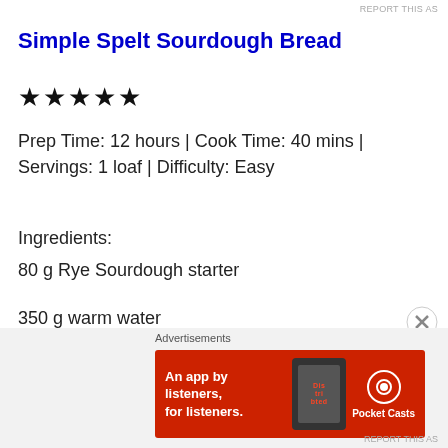REPORT THIS AS
Simple Spelt Sourdough Bread
★★★★★
Prep Time: 12 hours | Cook Time: 40 mins | Servings: 1 loaf | Difficulty: Easy
Ingredients:
80 g Rye Sourdough starter
350 g warm water
500 g stoneground wholmeal flour, Spelt
8 g sea salt
[Figure (screenshot): Pocket Casts advertisement banner: red background with text 'An app by listeners, for listeners.' and Pocket Casts logo, with a phone image showing the app.]
Advertisements
REPORT THIS AS